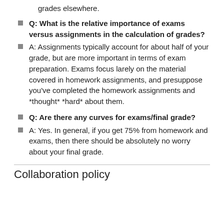grades elsewhere.
Q: What is the relative importance of exams versus assignments in the calculation of grades?
A: Assignments typically account for about half of your grade, but are more important in terms of exam preparation. Exams focus larely on the material covered in homework assignments, and presuppose you've completed the homework assignments and *thought* *hard* about them.
Q: Are there any curves for exams/final grade?
A: Yes. In general, if you get 75% from homework and exams, then there should be absolutely no worry about your final grade.
Collaboration policy